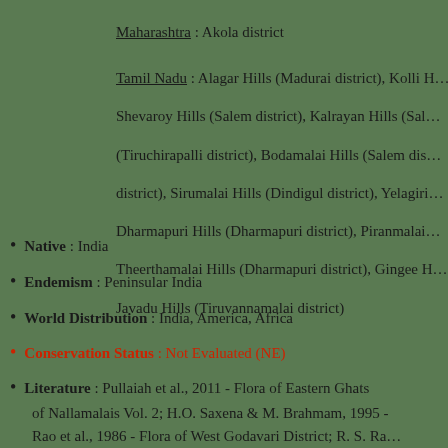Maharashtra : Akola district
Tamil Nadu : Alagar Hills (Madurai district), Kolli Hills, Shevaroy Hills (Salem district), Kalrayan Hills (Salem district), (Tiruchirapalli district), Bodamalai Hills (Salem district), Sirumalai Hills (Dindigul district), Yelagiri Hills (Dharmapuri district), Dharmapuri Hills (Dharmapuri district), Piranmalai Hills, Theerthamalai Hills (Dharmapuri district), Gingee Hills, Javadu Hills (Tiruvannamalai district)
Native : India
Endemism : Peninsular India
World Distribution : India, America, Africa
Conservation Status : Not Evaluated (NE)
Literature : Pullaiah et al., 2011 - Flora of Eastern Ghats of Nallamalais Vol. 2; H.O. Saxena & M. Brahmam, 1995 - Rao et al., 1986 - Flora of West Godavari District; R. S. Rao et al., 1986 - Flora of Srikakulam District; Sridhara, N., 2011 -